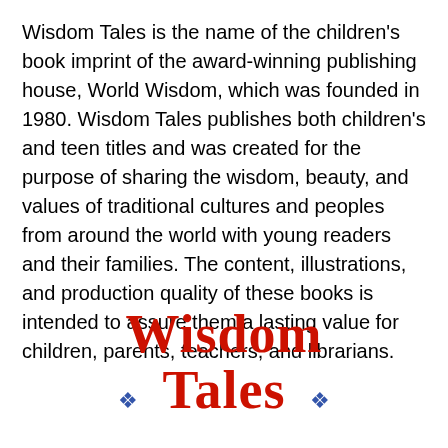Wisdom Tales is the name of the children's book imprint of the award-winning publishing house, World Wisdom, which was founded in 1980. Wisdom Tales publishes both children's and teen titles and was created for the purpose of sharing the wisdom, beauty, and values of traditional cultures and peoples from around the world with young readers and their families. The content, illustrations, and production quality of these books is intended to assure them a lasting value for children, parents, teachers, and librarians.
[Figure (logo): Wisdom Tales logo in red decorative medieval-style font with blue fleur-de-lis ornaments on either side of 'Tales']